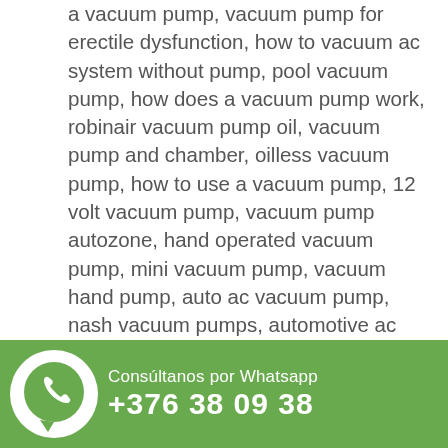a vacuum pump, vacuum pump for erectile dysfunction, how to vacuum ac system without pump, pool vacuum pump, how does a vacuum pump work, robinair vacuum pump oil, vacuum pump and chamber, oilless vacuum pump, how to use a vacuum pump, 12 volt vacuum pump, vacuum pump autozone, hand operated vacuum pump, mini vacuum pump, vacuum hand pump, auto ac vacuum pump, nash vacuum pumps, automotive ac vacuum pump, dental vacuum pump, cps vacuum pump, medical vacuum pump, micro vacuum pump, vacuum chamber with pump, vacuum pumps for sale, penile vacuum pump, air operated vacuum pump, vacuum pump repair, star vacuum pump, hand vacuum pump harbor freight, mastercool vacuum pump, ed vacuum pump, how to use ac vacuum pu... hilmor vacuum pu... black gold vacuum... how to make a vacuum pump, vacuum pump oil
[Figure (infographic): WhatsApp contact banner with green background, phone icon, text 'Consúltanos por Whatsapp' and phone number '+376 38 09 38']